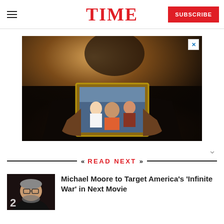TIME
[Figure (photo): Advertisement photo: a person holding up a framed photograph showing a group of people]
READ NEXT
[Figure (photo): Thumbnail photo of Michael Moore, a heavyset man with glasses and a beard, wearing a black jacket]
Michael Moore to Target America's 'Infinite War' in Next Movie